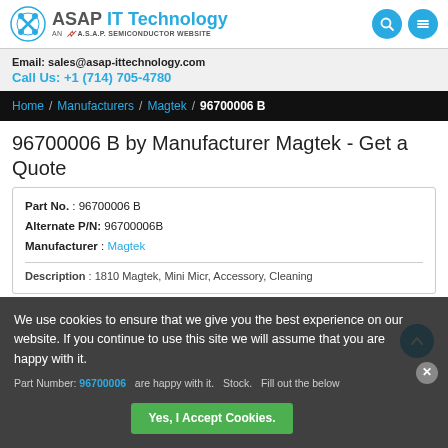ASAP IT Technology - AN A.S.A.P. SEMICONDUCTOR WEBSITE
Email: sales@asap-ittechnology.com
Call Us: +1 (714) 705-4780
Home / Manufacturers / Magtek / 96700006 B
96700006 B by Manufacturer Magtek - Get a Quote
| Part No. | 96700006 B |
| Alternate P/N: | 96700006B |
| Manufacturer : | Magtek |
Description : 1810 Magtek, Mini Micr, Accessory, Cleaning
We use cookies to ensure that we give you the best experience on our website. If you continue to use this site we will assume that you are happy with it.
Part Number: 96700006 ... Stock. Fill out the below ...
Yes, I Accept Cookies.